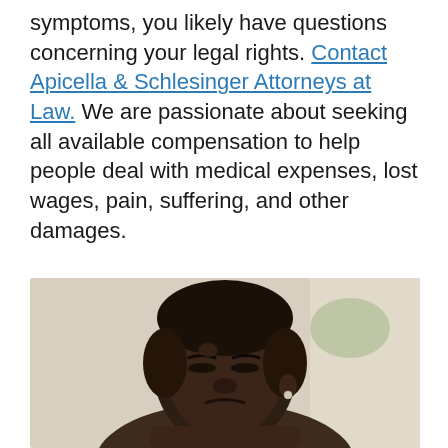symptoms, you likely have questions concerning your legal rights. Contact Apicella & Schlesinger Attorneys at Law. We are passionate about seeking all available compensation to help people deal with medical expenses, lost wages, pain, suffering, and other damages.
[Figure (photo): A young Black man with short natural hair and an earring, eyes closed or squinting in apparent pain or distress, photographed from the shoulders up in a bright indoor setting.]